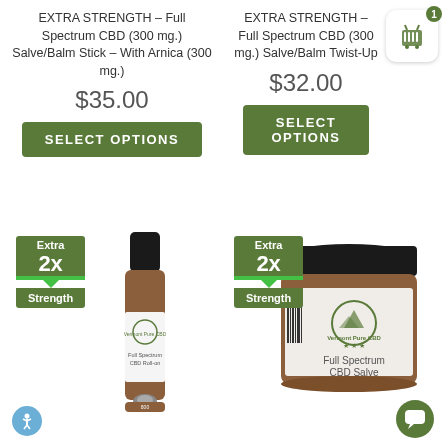EXTRA STRENGTH – Full Spectrum CBD (300 mg.) Salve/Balm Stick – With Arnica (300 mg.)
$35.00
SELECT OPTIONS
EXTRA STRENGTH – Full Spectrum CBD (300 mg.) Salve/Balm Twist-Up
$32.00
SELECT OPTIONS
[Figure (photo): CBD Roll-on bottle with Extra 2x Strength badge]
[Figure (photo): CBD Salve jar with Extra 2x Strength badge]